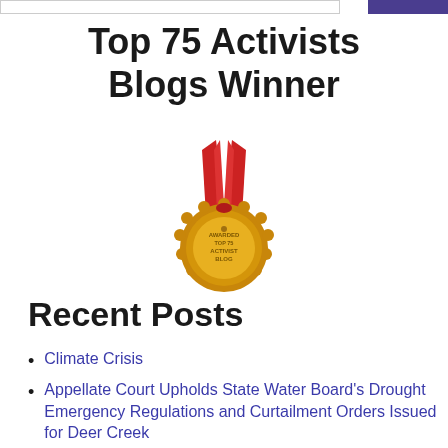[Search bar and button]
Top 75 Activists Blogs Winner
[Figure (illustration): Gold award medal with red ribbon on top, inscribed with 'AWARDED TOP 75 ACTIVIST BLOG']
Recent Posts
Climate Crisis
Appellate Court Upholds State Water Board's Drought Emergency Regulations and Curtailment Orders Issued for Deer Creek
In memory and honor of Tav Sparks
Landmark Lawsuit Settlement Between Environmentalists and State Water Boards